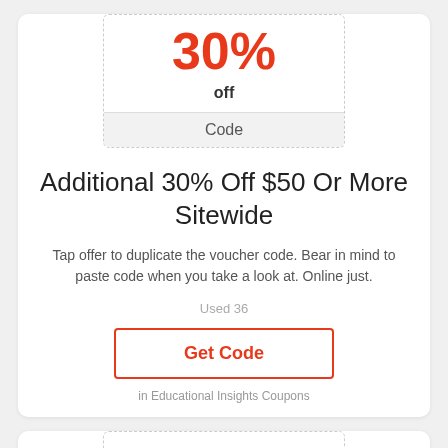30%
off
Code
Additional 30% Off $50 Or More Sitewide
Tap offer to duplicate the voucher code. Bear in mind to paste code when you take a look at. Online just.
Used 36
Get Code
in Educational Insights Coupons
40%